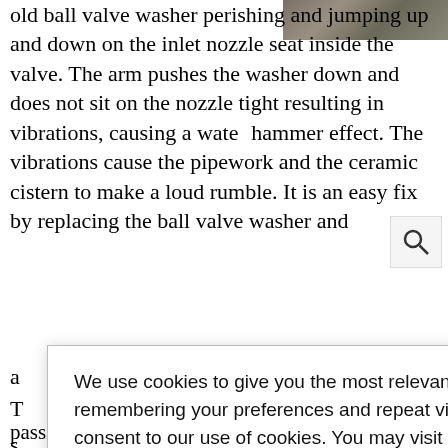[Figure (photo): Partial photo of plumbing/valve hardware, top right corner]
old ball valve washer perishing and jumping up and down on the inlet nozzle seat inside the valve. The arm pushes the washer down and does not sit on the nozzle tight resulting in vibrations, causing a water hammer effect. The vibrations cause the pipework and the ceramic cistern to make a loud rumble. It is an easy fix by replacing the ball valve washer and a ... y. T ... e a mixer s ... tap for the c ... k for. They h ... nd and knew r ... here the c ... of years ago, it i ... on the job can s ... ixer was passing, and the cold feed was cooling down the hot
We use cookies to give you the most relevant experience on this website by remembering your preferences and repeat visits. By clicking "Accept All", you consent to our use of cookies. You may visit "Cookie Settings" to control which cookies used.